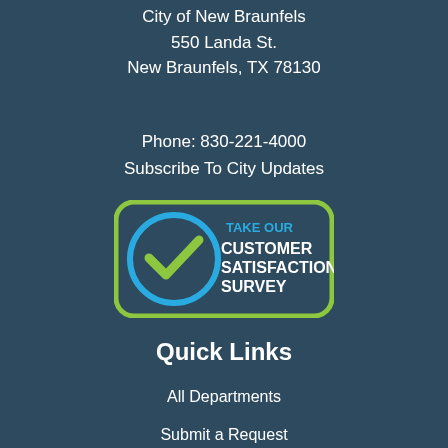City of New Braunfels
550 Landa St.
New Braunfels, TX 78130
Phone: 830-221-4000
Subscribe To City Updates
[Figure (logo): Take Our Customer Satisfaction Survey badge with a green checkmark on a teal circle, green rounded rectangle border, text in white and green]
Quick Links
All Departments
Submit a Request
Staff Directory
Living & Visiting in New Braunfels